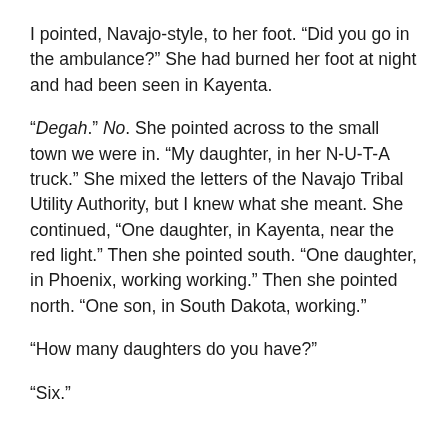I pointed, Navajo-style, to her foot. “Did you go in the ambulance?” She had burned her foot at night and had been seen in Kayenta.
“Degah.” No. She pointed across to the small town we were in. “My daughter, in her N-U-T-A truck.” She mixed the letters of the Navajo Tribal Utility Authority, but I knew what she meant. She continued, “One daughter, in Kayenta, near the red light.” Then she pointed south. “One daughter, in Phoenix, working working.” Then she pointed north. “One son, in South Dakota, working.”
“How many daughters do you have?”
“Six.”